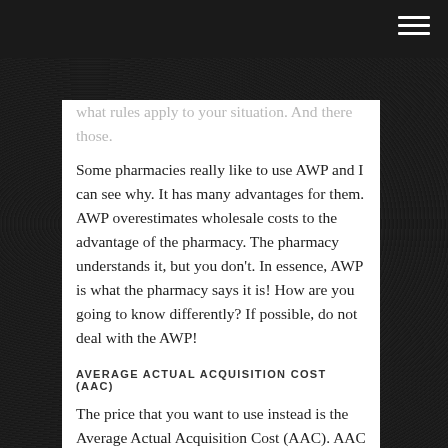what rules apply to your situation. And there those. Some pharmacies really like to use AWP and I can see why. It has many advantages for them. AWP overestimates wholesale costs to the advantage of the pharmacy. The pharmacy understands it, but you don't. In essence, AWP is what the pharmacy says it is! How are you going to know differently? If possible, do not deal with the AWP!
AVERAGE ACTUAL ACQUISITION COST (AAC)
The price that you want to use instead is the Average Actual Acquisition Cost (AAC). AAC is an estimate of the actual wholesale cost your pharmacy pays for medications. Instead of being head-scratchingly hard to understand, AAC is easy to understand. It is the true wholesale price. And instead of being almost impossible to find out, you can find out the AAC in one of two easy ways. First, you can ask your pharmacy for the AAC of medications you commonly order. Some pharmacies will